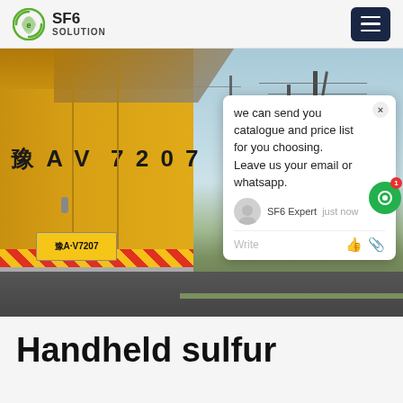SF6 SOLUTION
[Figure (photo): A yellow SF6 service truck with Chinese license plate 豫AV 7207, parked at an electrical substation site with power transmission towers in the background. A chat popup overlay reads: 'we can send you catalogue and price list for you choosing. Leave us your email or whatsapp.' with SF6 Expert agent shown, just now.]
Handheld sulfur